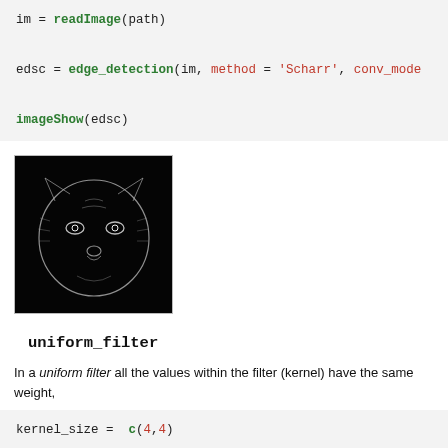im = readImage(path)
edsc = edge_detection(im, method = 'Scharr', conv_mode
imageShow(edsc)
[Figure (photo): Edge-detected image of a leopard/cat face on black background, showing white edge outlines]
uniform_filter
In a uniform filter all the values within the filter (kernel) have the same weight,
kernel_size =  c(4,4)
unf = uniform_filter(im,  size = kernel_size,  conv_mode
unif filt = matrix(1,  ncol = kernel_size[1],  nrow = ke